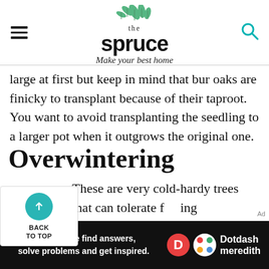the spruce – Make your best home
large at first but keep in mind that bur oaks are finicky to transplant because of their taproot. You want to avoid transplanting the seedling to a larger pot when it outgrows the original one.
Overwintering
These are very cold-hardy trees that can tolerate freezing temperatures in their usual growing zones. Young trees that are still in containers or newly planted can benefit from a layer of mulch or straw over the roots.
[Figure (logo): Dotdash Meredith advertisement banner: 'We help people find answers, solve problems and get inspired.']